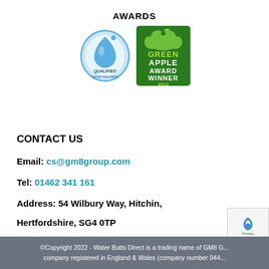AWARDS
[Figure (logo): Two award logos: a blue water drop 'QUALIFIED' badge and a green 'GREEN APPLE AWARD WINNER 2012' badge]
CONTACT US
Email: cs@gm8group.com
Tel: 01462 341 161
Address: 54 Wilbury Way, Hitchin,
Hertfordshire, SG4 0TP
©Copyright 2022 - Water Butts Direct is a trading name of GM8 G... company registered in England & Wales (company number 044...)